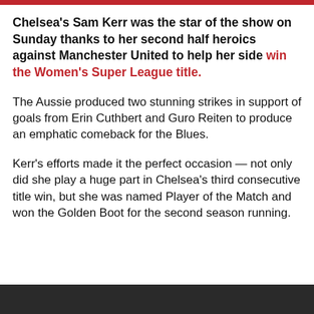Chelsea's Sam Kerr was the star of the show on Sunday thanks to her second half heroics against Manchester United to help her side win the Women's Super League title.
The Aussie produced two stunning strikes in support of goals from Erin Cuthbert and Guro Reiten to produce an emphatic comeback for the Blues.
Kerr's efforts made it the perfect occasion — not only did she play a huge part in Chelsea's third consecutive title win, but she was named Player of the Match and won the Golden Boot for the second season running.